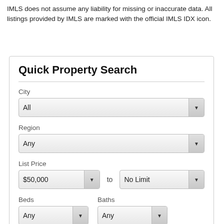IMLS does not assume any liability for missing or inaccurate data. All listings provided by IMLS are marked with the official IMLS IDX icon.
Quick Property Search
City
All
Region
Any
List Price
$50,000
to
No Limit
Beds
Baths
Any
Any